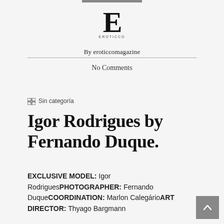[Figure (logo): Eroticco Magazine logo: large stylized letter E with small text below reading EROTICCO]
By eroticcomagazine
No Comments
Sin categoría
Igor Rodrigues by Fernando Duque.
EXCLUSIVE MODEL: Igor RodriguesPHOTOGRAPHER: Fernando DuqueCOORDINATION: Marlon CalegárioART DIRECTOR: Thyago Bargmann